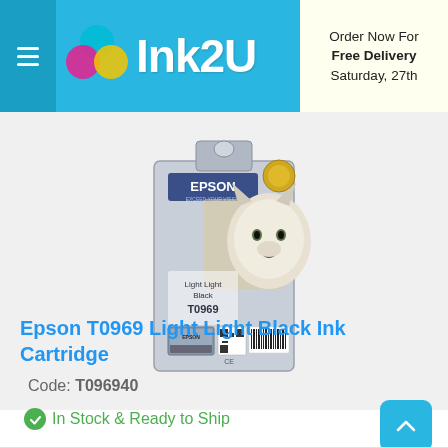Ink2U — Order Now For Free Delivery Saturday, 27th
[Figure (photo): Epson T0969 Light Light Black ink cartridge box featuring a white wolf/husky image on the packaging. The box is light blue/grey, shows the Epson logo, text 'Light Light Black T0969', a barcode, and CE mark at the bottom.]
Epson T0969 Light Light Black Ink Cartridge
Code: T096940
In Stock & Ready to Ship